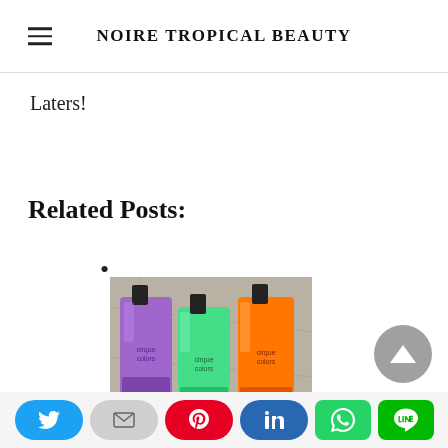NOIRE TROPICAL BEAUTY
Laters!
Related Posts:
[Figure (photo): Three nail polish bottles (purple, green, orange) from Cirque Colors brand on a granite surface]
Social share buttons: Twitter, Email, Pinterest, LinkedIn, WhatsApp, Line